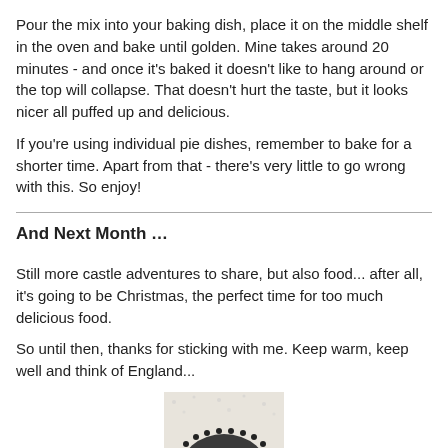Pour the mix into your baking dish, place it on the middle shelf in the oven and bake until golden. Mine takes around 20 minutes - and once it's baked it doesn't like to hang around or the top will collapse. That doesn't hurt the taste, but it looks nicer all puffed up and delicious.
If you're using individual pie dishes, remember to bake for a shorter time. Apart from that - there's very little to go wrong with this. So enjoy!
And Next Month …
Still more castle adventures to share, but also food... after all, it's going to be Christmas, the perfect time for too much delicious food.
So until then, thanks for sticking with me. Keep warm, keep well and think of England...
[Figure (photo): Partial image of a circular food item (pastry or pie) at the bottom of the page, partially cut off.]